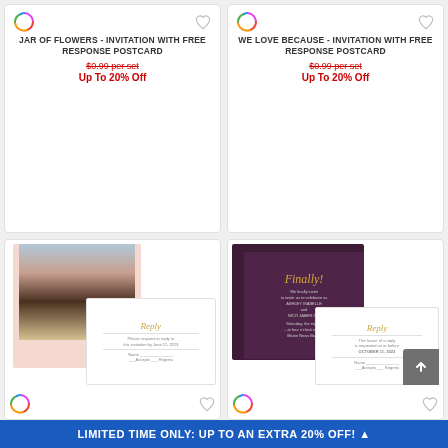[Figure (photo): Product card: Jar of Flowers invitation with free response postcard, showing price crossed out $0.99 per set, Up To 20% Off]
JAR OF FLOWERS - INVITATION WITH FREE RESPONSE POSTCARD
$0.99 per set
Up To 20% Off
[Figure (photo): Product card: We Love Because invitation with free response postcard, showing price crossed out $0.99 per set, Up To 20% Off]
WE LOVE BECAUSE - INVITATION WITH FREE RESPONSE POSTCARD
$0.99 per set
Up To 20% Off
[Figure (photo): Wedding invitation product with couple photo, pink card, and white reply card]
[Figure (photo): Wedding invitation product with purple Finally card and white reply card]
LIMITED TIME ONLY: UP TO AN EXTRA 20% OFF!